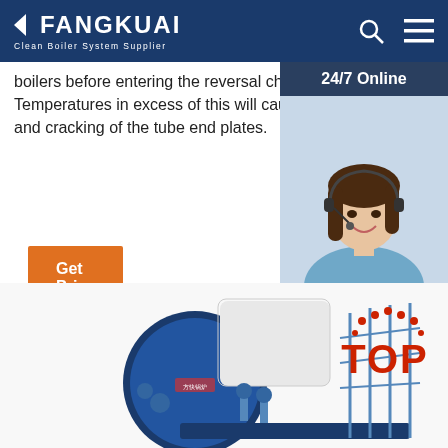FANGKUAI Clean Boiler System Supplier
boilers before entering the reversal chamber. Temperatures in excess of this will cause overheating and cracking of the tube end plates.
[Figure (photo): Customer service agent photo with 24/7 Online label and chat/quotation buttons sidebar]
[Figure (photo): Industrial boiler equipment image with TOP badge overlay]